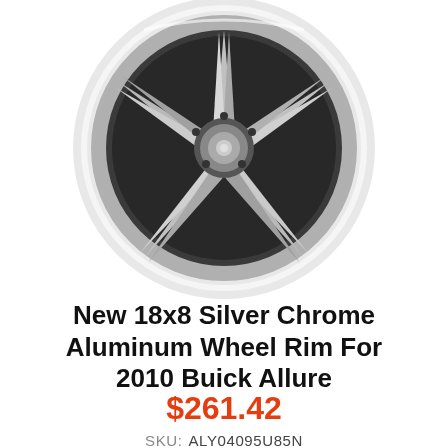[Figure (photo): Chrome aluminum wheel rim, silver finish, multi-spoke design, viewed from slightly below front angle, white background]
New 18x8 Silver Chrome Aluminum Wheel Rim For 2010 Buick Allure
$261.42
SKU:  ALY04095U85N